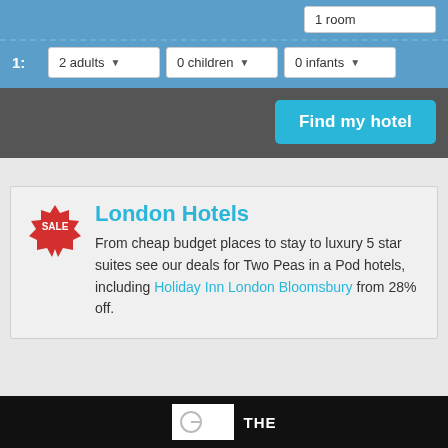[Figure (screenshot): Hotel search form UI showing room selector with '1 room' input, room 1 guest dropdowns for '2 adults', '0 children', '0 infants', a 'Find my hotel' button on dark grey background, and a promotional card for London Hotels with a SALE badge, title 'London Hotels', and descriptive text about deals including Holiday Inn London Bloomsbury from 28% off. Black footer bar at bottom with logo area and 'THE' text.]